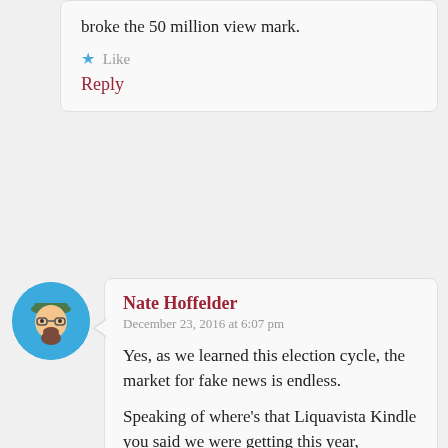broke the 50 million view mark.
Like
Reply
Nate Hoffelder
December 23, 2016 at 6:07 pm
Yes, as we learned this election cycle, the market for fake news is endless.

Speaking of where’s that Liquavista Kindle you said we were getting this year, Michael?
Liked by 1 person